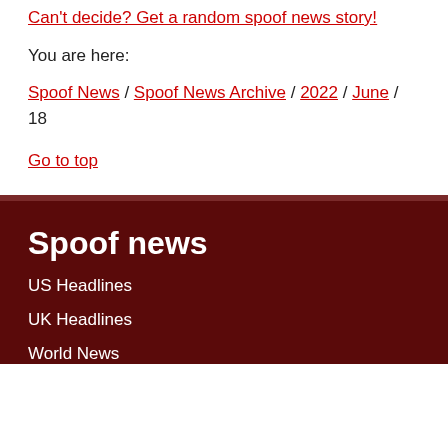Can't decide? Get a random spoof news story!
You are here:
Spoof News / Spoof News Archive / 2022 / June / 18
Go to top
Spoof news
US Headlines
UK Headlines
World News